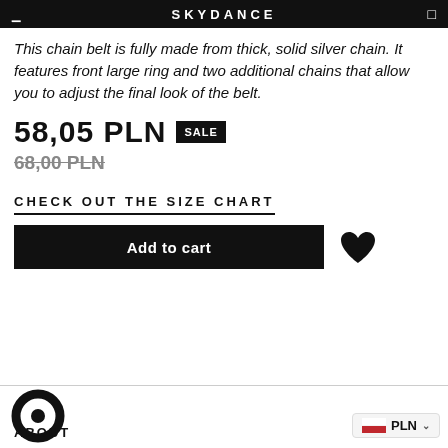SKYDANCE
This chain belt is fully made from thick, solid silver chain. It features front large ring and two additional chains that allow you to adjust the final look of the belt.
58,05 PLN SALE
68,00 PLN
CHECK OUT THE SIZE CHART
Add to cart
ABOUT